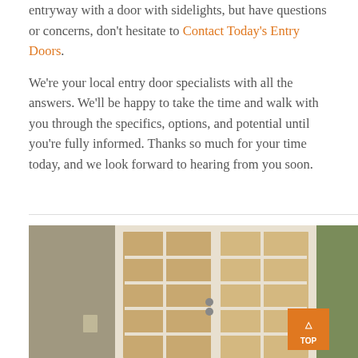entryway with a door with sidelights, but have questions or concerns, don't hesitate to Contact Today's Entry Doors. We're your local entry door specialists with all the answers. We'll be happy to take the time and walk with you through the specifics, options, and potential until you're fully informed. Thanks so much for your time today, and we look forward to hearing from you soon.
[Figure (photo): Photograph of a white French double door with glass panels arranged in a grid pattern, with a door handle, set in a stucco wall exterior. An orange 'TOP' button with an upward arrow is visible in the lower right corner of the image.]